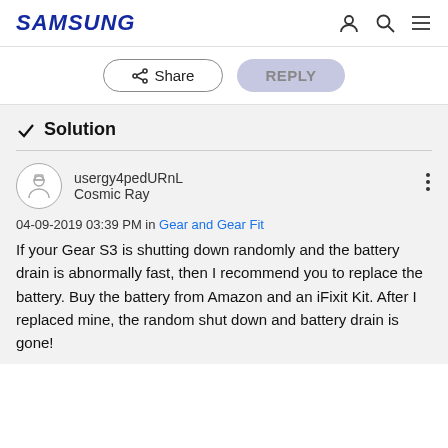SAMSUNG
Share   REPLY
✓ Solution
usergy4pedURnL
Cosmic Ray
04-09-2019 03:39 PM in Gear and Gear Fit
If your Gear S3 is shutting down randomly and the battery drain is abnormally fast, then I recommend you to replace the battery. Buy the battery from Amazon and an iFixit Kit. After I replaced mine, the random shut down and battery drain is gone!